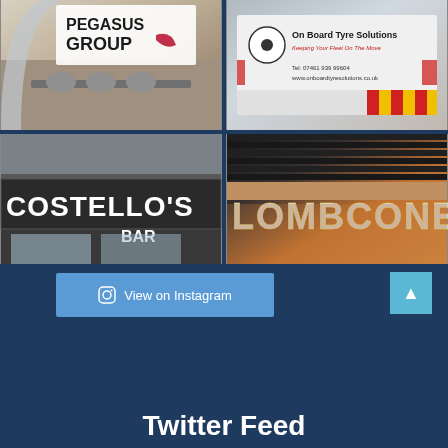[Figure (photo): 2x2 grid of photos: top-left shows Pegasus Group office interior with logo; top-right shows On Board Tyre Solutions van; bottom-left shows Costello's Bar exterior sign; bottom-right shows Lombcone illuminated sign]
View on Instagram
↑ (scroll to top button)
Twitter Feed